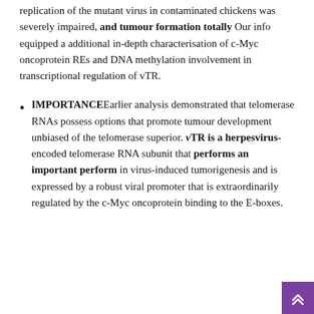replication of the mutant virus in contaminated chickens was severely impaired, and tumour formation totally Our info equipped a additional in-depth characterisation of c-Myc oncoprotein REs and DNA methylation involvement in transcriptional regulation of vTR.
IMPORTANCEEarlier analysis demonstrated that telomerase RNAs possess options that promote tumour development unbiased of the telomerase superior. vTR is a herpesvirus-encoded telomerase RNA subunit that performs an important perform in virus-induced tumorigenesis and is expressed by a robust viral promoter that is extraordinarily regulated by the c-Myc oncoprotein binding to the E-boxes.